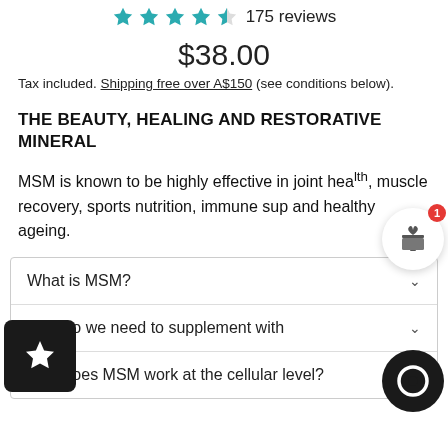[Figure (other): 5 teal star rating icons with '175 reviews' text]
$38.00
Tax included. Shipping free over A$150 (see conditions below).
THE BEAUTY, HEALING AND RESTORATIVE MINERAL
MSM is known to be highly effective in joint health, muscle recovery, sports nutrition, immune support and healthy ageing.
What is MSM?
Why do we need to supplement with
How does MSM work at the cellular level?